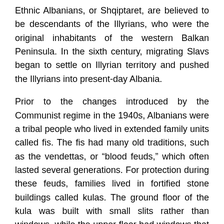Ethnic Albanians, or Shqiptaret, are believed to be descendants of the Illyrians, who were the original inhabitants of the western Balkan Peninsula. In the sixth century, migrating Slavs began to settle on Illyrian territory and pushed the Illyrians into present-day Albania.
Prior to the changes introduced by the Communist regime in the 1940s, Albanians were a tribal people who lived in extended family units called fis. The fis had many old traditions, such as the vendettas, or “blood feuds,” which often lasted several generations. For protection during these feuds, families lived in fortified stone buildings called kulas. The ground floor of the kula was built with small slits rather than windows, while the upper floor had windows that could be closed.
Albania is a country with many isolated areas. Over the